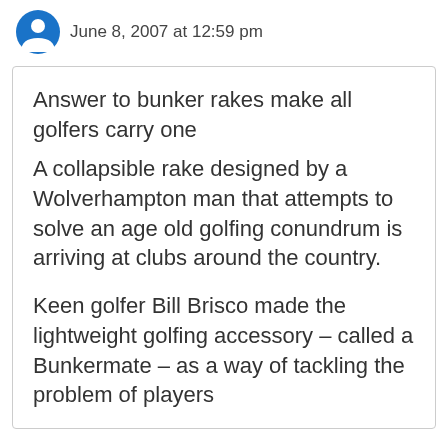June 8, 2007 at 12:59 pm
Answer to bunker rakes make all golfers carry one
A collapsible rake designed by a Wolverhampton man that attempts to solve an age old golfing conundrum is arriving at clubs around the country.

Keen golfer Bill Brisco made the lightweight golfing accessory – called a Bunkermate – as a way of tackling the problem of players